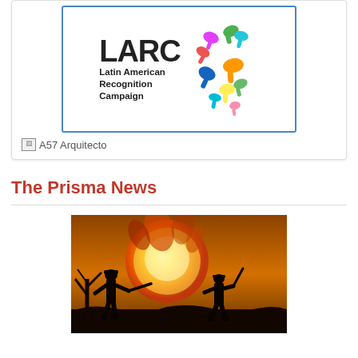[Figure (logo): LARC - Latin American Recognition Campaign logo with colorful handprints forming a brain/map shape]
A57 Arquitecto
The Prisma News
[Figure (photo): Silhouettes of soldiers against a large orange fireball explosion at dusk]